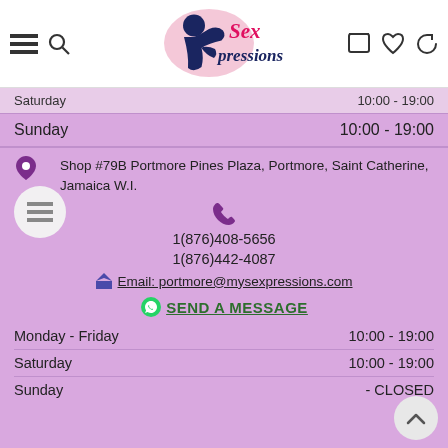[Figure (logo): Sexpressions logo with stylized figures in pink and navy blue, script text 'Sexpressions']
Saturday  10:00 - 19:00
Sunday  10:00 - 19:00
📍 Shop #79B Portmore Pines Plaza, Portmore, Saint Catherine, Jamaica W.I.
1(876)408-5656
1(876)442-4087
Email: portmore@mysexpressions.com
SEND A MESSAGE
| Day | Hours |
| --- | --- |
| Monday - Friday | 10:00 - 19:00 |
| Saturday | 10:00 - 19:00 |
| Sunday | - CLOSED |